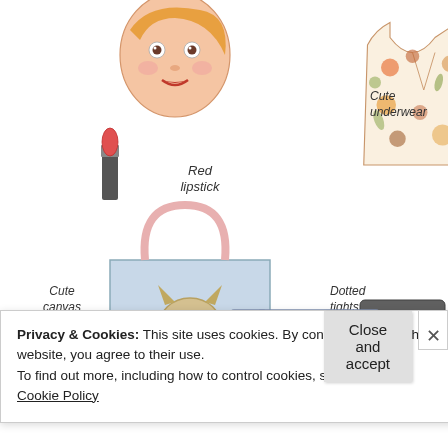[Figure (illustration): Fashion illustration showing various clothing and accessory items with handwritten labels: a girl's face, red lipstick, a cute canvas bag with owl print, a floral 'look' shirt, cute underwear (pink bikini top), dotted tights (grey leggings with dots), high waist shorts (denim), owl prints label]
Privacy & Cookies: This site uses cookies. By continuing to use this website, you agree to their use.
To find out more, including how to control cookies, see here:
Cookie Policy
Close and accept